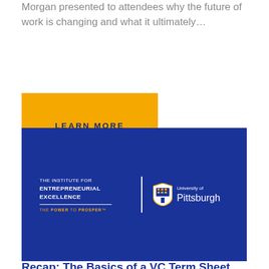Morgan presented to attendees why the future of work is changing and what it ultimately...
LEARN MORE
[Figure (logo): The Institute for Entrepreneurial Excellence / University of Pittsburgh logo on a dark blue background. Left side: 'THE INSTITUTE FOR ENTREPRENEURIAL EXCELLENCE' with a horizontal rule and tagline 'THE POWER TO PROSPER™'. Right side: University of Pittsburgh shield logo and wordmark.]
Recap: The Basics of a VC Term Sheet